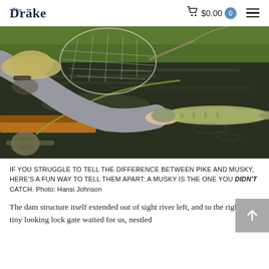The Drake  $0.00  0
[Figure (photo): A fisherman in a hat and gray hoodie holds a large pike or musky fish over the water beside a wooden boat gunwale, with a fishing net visible and green trees in the background.]
IF YOU STRUGGLE TO TELL THE DIFFERENCE BETWEEN PIKE AND MUSKY, HERE'S A FUN WAY TO TELL THEM APART: A MUSKY IS THE ONE YOU DIDN'T CATCH. Photo: Hansi Johnson
The dam structure itself extended out of sight river left, and to the right, the tiny looking lock gate waited for us, nestled